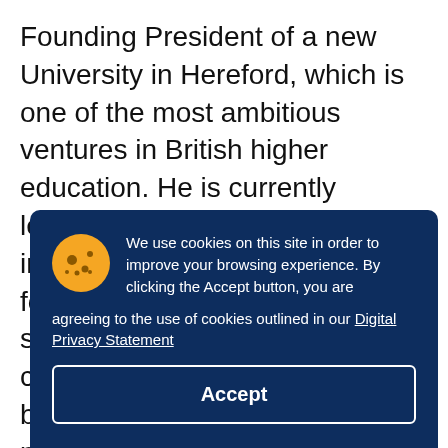Founding President of a new University in Hereford, which is one of the most ambitious ventures in British higher education. He is currently leading a new trans-disciplinary initiative applying key driving forces in the 21st century science and engineering to create a novel type of research-based academic p... i... p... e... s...
We use cookies on this site in order to improve your browsing experience. By clicking the Accept button, you are agreeing to the use of cookies outlined in our Digital Privacy Statement
Accept